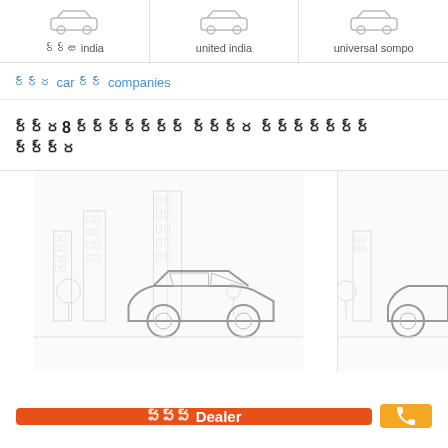[Figure (illustration): Three car insurance company logos/icons in a row: nnnn india, united india, universal sompo]
nnnn india
united india
universal sompo
nnnnn car nnnn companies
nnnnn8 nnnnnnnnnnnnnn nnnnn nnnnnnnnnnnnnn nnnnnnnn
[Figure (illustration): Two car insurance card illustrations showing sedan car with city skyline background]
nnnnnn Dealer